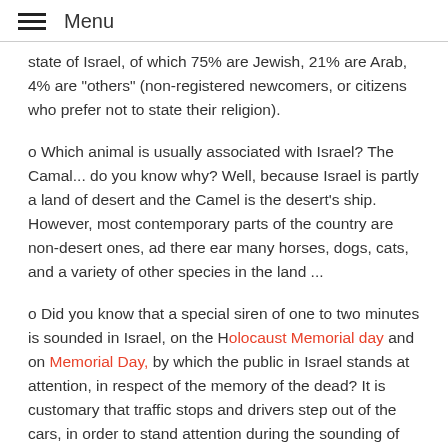Menu
state of Israel, of which 75% are Jewish, 21% are Arab, 4% are "others" (non-registered newcomers, or citizens who prefer not to state their religion).
o Which animal is usually associated with Israel? The Camal... do you know why? Well, because Israel is partly a land of desert and the Camel is the desert's ship. However, most contemporary parts of the country are non-desert ones, ad there ear many horses, dogs, cats, and a variety of other species in the land ...
o Did you know that a special siren of one to two minutes is sounded in Israel, on the Holocaust Memorial day and on Memorial Day, by which the public in Israel stands at attention, in respect of the memory of the dead? It is customary that traffic stops and drivers step out of the cars, in order to stand attention during the sounding of the siren.